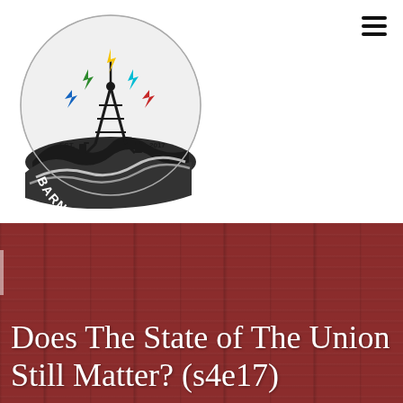[Figure (logo): Barnstorming PA podcast logo — circular badge with a radio tower emitting colorful lightning bolts (green, yellow, cyan, blue, red), rolling hills/fields in dark grey/black at the bottom, text 'BARNSTORMING PA' curved along the bottom inside the circle, 'EST.' on the left and '2017' on the right]
Does The State of The Union Still Matter? (s4e17)